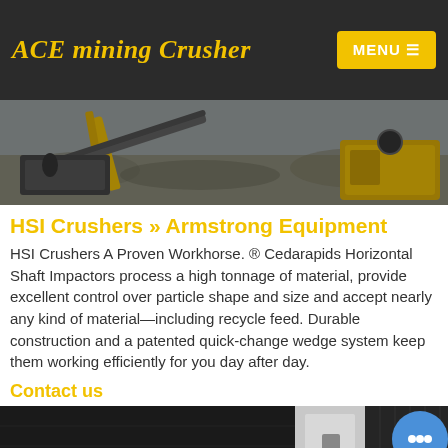ACE mining Crusher
[Figure (photo): Aerial/ground view of mining crusher equipment including yellow and black heavy machinery at a quarry/mining site]
HSI Crushers » Armstrong Equipment
HSI Crushers A Proven Workhorse. ® Cedarapids Horizontal Shaft Impactors process a high tonnage of material, provide excellent control over particle shape and size and accept nearly any kind of material—including recycle feed. Durable construction and a patented quick-change wedge system keep them working efficiently for you day after day.
Contact us
[Figure (photo): Bottom strip showing dark industrial equipment panels]